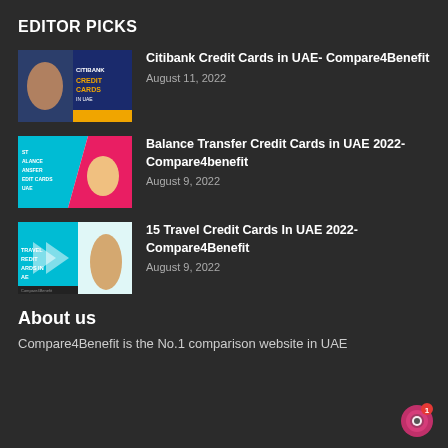EDITOR PICKS
[Figure (photo): Thumbnail for Citibank Credit Cards in UAE article – dark blue background with yellow text 'CITIBANK CREDIT CARDS IN UAE' and a person on the left]
Citibank Credit Cards in UAE- Compare4Benefit
August 11, 2022
[Figure (photo): Thumbnail for Balance Transfer Credit Cards in UAE 2022 – teal and pink design with a woman holding a credit card, text on left side]
Balance Transfer Credit Cards in UAE 2022- Compare4benefit
August 9, 2022
[Figure (photo): Thumbnail for 15 Travel Credit Cards In UAE 2022 – teal background with white chevrons, woman standing, text 'TRAVEL CREDIT CARDS IN UAE']
15 Travel Credit Cards In UAE 2022- Compare4Benefit
August 9, 2022
About us
Compare4Benefit is the No.1 comparison website in UAE